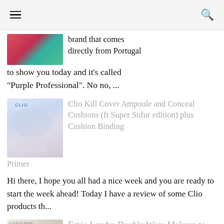≡  🔍
brand that comes directly from Portugal to show you today and it's called "Purple Professional". No no, ...
Clio Kill Cover Ampoule and Conceal Cushions (ft Super Sufur edition) plus Cushion Binding Primer
Hi there, I hope you all had a nice week and you are ready to start the week ahead! Today I have a review of some Clio products th...
Estée Lauder Double Wear Makeup to Go